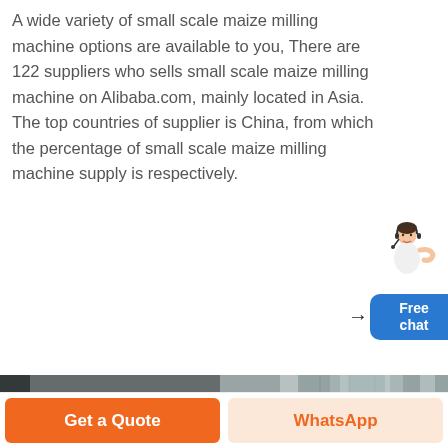A wide variety of small scale maize milling machine options are available to you, There are 122 suppliers who sells small scale maize milling machine on Alibaba.com, mainly located in Asia. The top countries of supplier is China, from which the percentage of small scale maize milling machine supply is respectively.
[Figure (illustration): Blue chat widget with arrow icon showing 'Free chat' button and a customer service representative figure above it]
[Figure (photo): Industrial maize milling machine equipment inside a large factory building, showing large cylindrical mill and concrete structure]
Get a Quote
WhatsApp